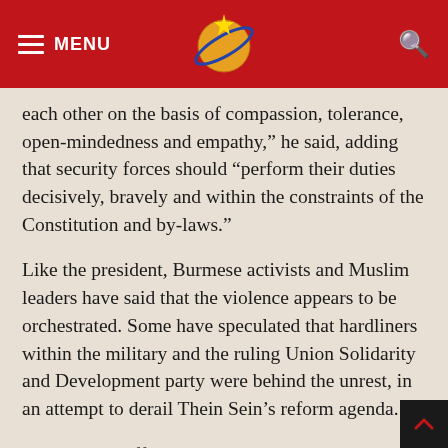MENU
each other on the basis of compassion, tolerance, open-mindedness and empathy,” he said, adding that security forces should “perform their duties decisively, bravely and within the constraints of the Constitution and by-laws.”
Like the president, Burmese activists and Muslim leaders have said that the violence appears to be orchestrated. Some have speculated that hardliners within the military and the ruling Union Solidarity and Development party were behind the unrest, in an attempt to derail Thein Sein’s reform agenda.
Since taking office in April 2011, the president has pushed through a raft of political and socioeconomic reforms. He has publicly committed himself to transforming Burma from an isolated military regime to a rights-respecting